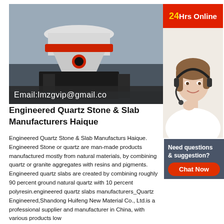[Figure (photo): Industrial cone crusher machine in a factory setting, with a blue Chinese text banner at the top, red band around the machine, and an email overlay at the bottom reading Email:lmzgvip@gmail.co]
[Figure (photo): Customer service agent (woman wearing headset) with 24Hrs Online red header banner and Need questions & suggestion? Chat Now box below]
Engineered Quartz Stone & Slab Manufacturers Haique
Engineered Quartz Stone & Slab Manufacturers Haique. Engineered Stone or quartz are man-made products manufactured mostly from natural materials, by combining quartz or granite aggregates with resins and pigments. Engineered quartz slabs are created by combining roughly 90 percent ground natural quartz with 10 percent polyresin.engineered quartz slabs manufacturers_Quartz Engineered,Shandong Huifeng New Material Co., Ltd.is a professional supplier and manufacturer in China, with various products low